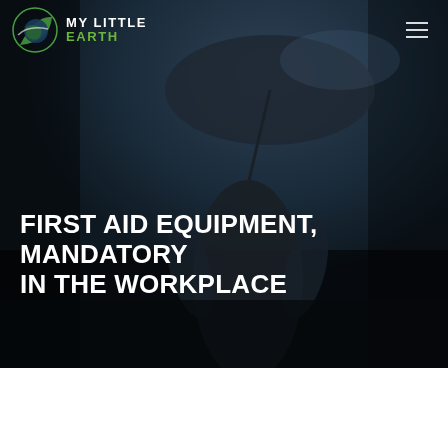[Figure (photo): Dark moody background photo of a person standing outdoors holding an umbrella, viewed from behind, wearing a dark jacket. The scene appears overcast and dim.]
FIRST AID EQUIPMENT, MANDATORY IN THE WORKPLACE
[Figure (logo): My Little Earth logo: circular green and white earth/leaf icon with text 'MY LITTLE EARTH' in white and green uppercase letters]